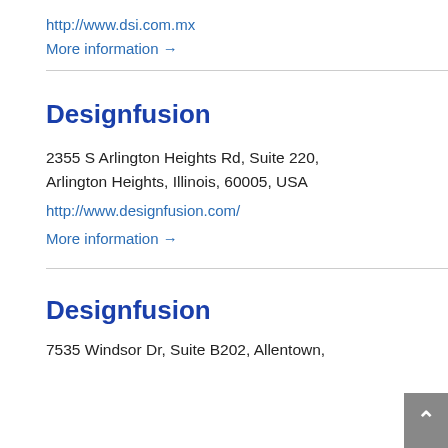http://www.dsi.com.mx
More information →
Designfusion
2355 S Arlington Heights Rd, Suite 220, Arlington Heights, Illinois, 60005, USA
http://www.designfusion.com/
More information →
Designfusion
7535 Windsor Dr, Suite B202, Allentown,